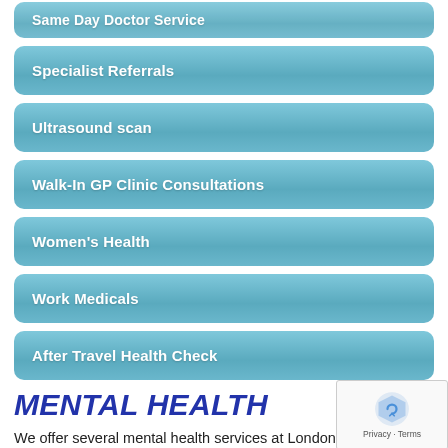Same Day Doctor Service
Specialist Referrals
Ultrasound scan
Walk-In GP Clinic Consultations
Women's Health
Work Medicals
After Travel Health Check
MENTAL HEALTH
We offer several mental health services at London GP Clinic and partner with mental health specialists when necessary to help your mental health be at its best. At the London G... we can help you cope with the following conditions that affect